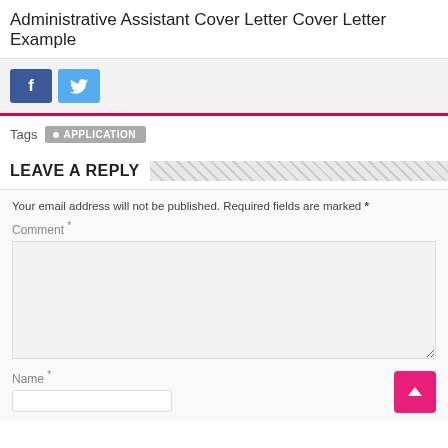Administrative Assistant Cover Letter Cover Letter Example
[Figure (other): Social share buttons: Facebook (blue) and Twitter (light blue)]
Tags  • APPLICATION
LEAVE A REPLY
Your email address will not be published. Required fields are marked *
Comment *
Name *